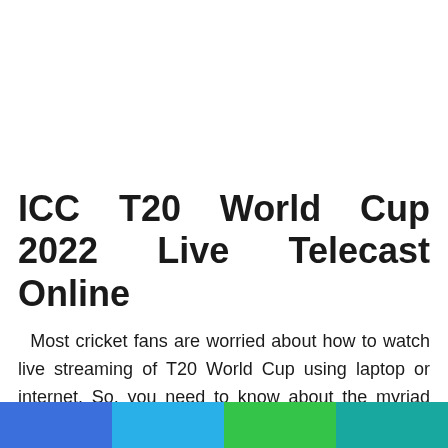ICC T20 World Cup 2022 Live Telecast Online
Most cricket fans are worried about how to watch live streaming of T20 World Cup using laptop or internet. So, you need to know about the myriad sources of live streaming. Still, YouTube is not providing you with live streaming of T20
[Figure (infographic): Four colored horizontal bar segments at the bottom: blue, light blue, green, teal]